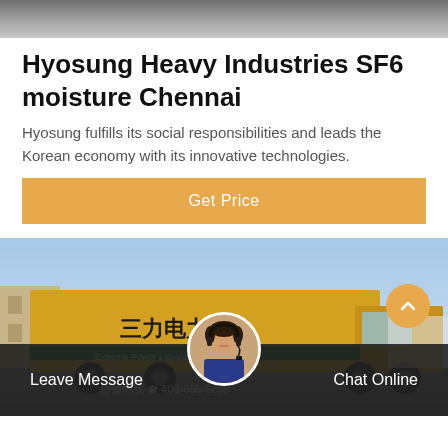[Figure (photo): Top header image strip showing a partial scene, gray/brown tones]
Hyosung Heavy Industries SF6 moisture Chennai
Hyosung fulfills its social responsibilities and leads the Korean economy with its innovative technologies.
Get Price
[Figure (photo): Yellow service truck with Chinese text and branding, parked outdoors under a blue sky]
Leave Message
Chat Online